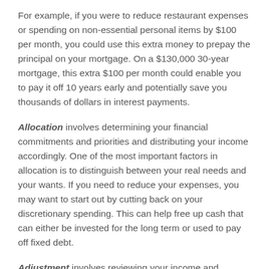For example, if you were to reduce restaurant expenses or spending on non-essential personal items by $100 per month, you could use this extra money to prepay the principal on your mortgage. On a $130,000 30-year mortgage, this extra $100 per month could enable you to pay it off 10 years early and potentially save you thousands of dollars in interest payments.
Allocation involves determining your financial commitments and priorities and distributing your income accordingly. One of the most important factors in allocation is to distinguish between your real needs and your wants. If you need to reduce your expenses, you may want to start out by cutting back on your discretionary spending. This can help free up cash that can either be invested for the long term or used to pay off fixed debt.
Adjustment involves reviewing your income and expenses periodically and making changes when